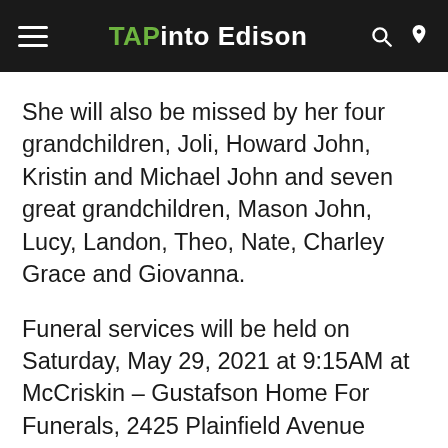TAPinto Edison
She will also be missed by her four grandchildren, Joli, Howard John, Kristin and Michael John and seven great grandchildren, Mason John, Lucy, Landon, Theo, Nate, Charley Grace and Giovanna.
Funeral services will be held on Saturday, May 29, 2021 at 9:15AM at McCriskin – Gustafson Home For Funerals, 2425 Plainfield Avenue South Plainfield NJ 07080 followed by a funeral mass celebrated at 10:30AM at Sacred Heart RC